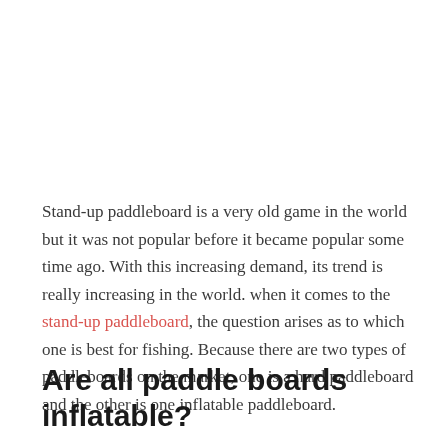Stand-up paddleboard is a very old game in the world but it was not popular before it became popular some time ago. With this increasing demand, its trend is really increasing in the world. when it comes to the stand-up paddleboard, the question arises as to which one is best for fishing. Because there are two types of paddleboards on the market, one is a hard paddleboard and the other is one inflatable paddleboard.
Are all paddle boards inflatable?